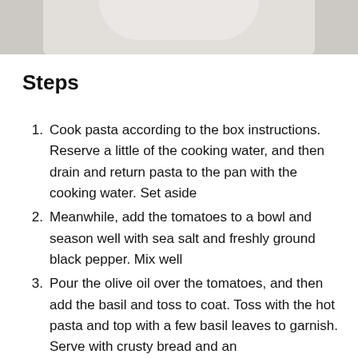[Figure (photo): Partial view of a white plate/bowl, cropped at top of page]
Steps
Cook pasta according to the box instructions. Reserve a little of the cooking water, and then drain and return pasta to the pan with the cooking water. Set aside
Meanwhile, add the tomatoes to a bowl and season well with sea salt and freshly ground black pepper. Mix well
Pour the olive oil over the tomatoes, and then add the basil and toss to coat. Toss with the hot pasta and top with a few basil leaves to garnish. Serve with crusty bread and an